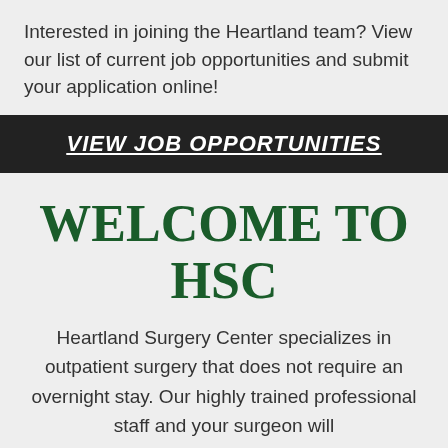Interested in joining the Heartland team? View our list of current job opportunities and submit your application online!
VIEW JOB OPPORTUNITIES
WELCOME TO HSC
Heartland Surgery Center specializes in outpatient surgery that does not require an overnight stay. Our highly trained professional staff and your surgeon will